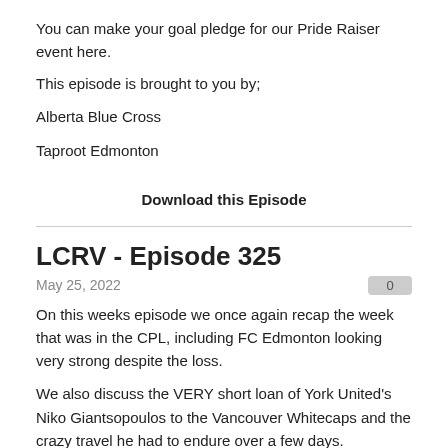You can make your goal pledge for our Pride Raiser event here.
This episode is brought to you by;
Alberta Blue Cross
Taproot Edmonton
Download this Episode
LCRV - Episode 325
May 25, 2022
On this weeks episode we once again recap the week that was in the CPL, including FC Edmonton looking very strong despite the loss.
We also discuss the VERY short loan of York United's Niko Giantsopoulos to the Vancouver Whitecaps and the crazy travel he had to endure over a few days.
This weeks episode is brought to you by;